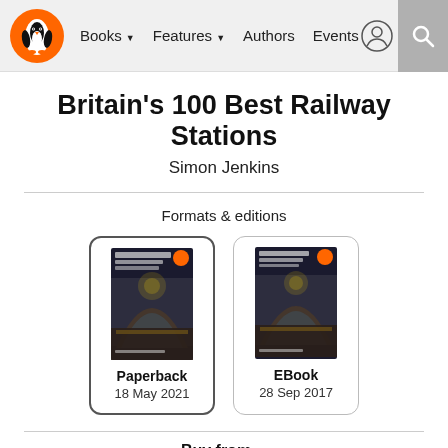Books  Features  Authors  Events
Britain's 100 Best Railway Stations
Simon Jenkins
Formats & editions
[Figure (photo): Book cover for 'Britain's 100 Best Railway Stations' - Paperback edition, 18 May 2021]
Paperback
18 May 2021
[Figure (photo): Book cover for 'Britain's 100 Best Railway Stations' - EBook edition, 28 Sep 2017]
EBook
28 Sep 2017
Buy from...